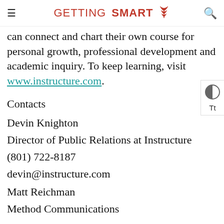GETTING SMART
can connect and chart their own course for personal growth, professional development and academic inquiry. To keep learning, visit www.instructure.com.
Contacts
Devin Knighton
Director of Public Relations at Instructure
(801) 722-8187
devin@instructure.com
Matt Reichman
Method Communications